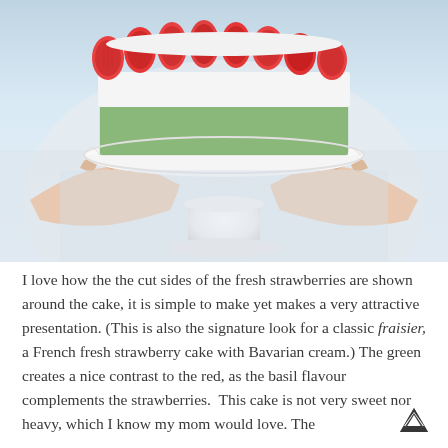[Figure (photo): A person holding a white pedestal cake stand with a decorated cake. The cake has green crumb coating on the sides, topped with a ring of halved fresh strawberries showing their cut sides outward, with white cream visible between the strawberry layer and the green base crumbs.]
I love how the the cut sides of the fresh strawberries are shown around the cake, it is simple to make yet makes a very attractive presentation. (This is also the signature look for a classic fraisier, a French fresh strawberry cake with Bavarian cream.) The green creates a nice contrast to the red, as the basil flavour complements the strawberries.  This cake is not very sweet nor heavy, which I know my mom would love. The